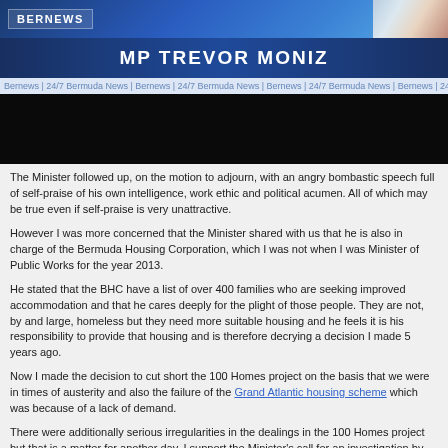BERNEWS
MP TREVOR MONIZ
[Figure (photo): Black video/image frame area below the ticker bar]
The Minister followed up, on the motion to adjourn, with an angry bombastic speech full of self-praise of his own intelligence, work ethic and political acumen. All of which may be true even if self-praise is very unattractive.
However I was more concerned that the Minister shared with us that he is also in charge of the Bermuda Housing Corporation, which I was not when I was Minister of Public Works for the year 2013.
He stated that the BHC have a list of over 400 families who are seeking improved accommodation and that he cares deeply for the plight of those people. They are not, by and large, homeless but they need more suitable housing and he feels it is his responsibility to provide that housing and is therefore decrying a decision I made 5 years ago.
Now I made the decision to cut short the 100 Homes project on the basis that we were in times of austerity and also the failure of the Grand Atlantic housing scheme which was because of a lack of demand.
There were additionally serious irregularities in the dealings in the 100 Homes project but that is a matter for another day. I support the Minister's call for an investigation by the Auditor-General.